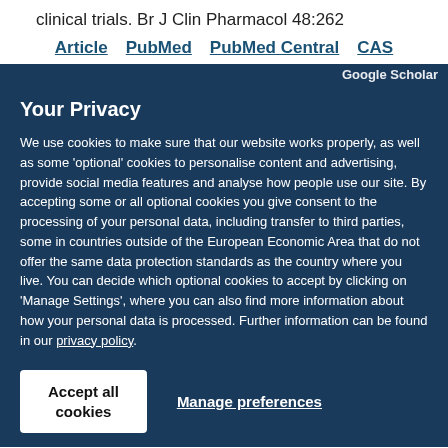clinical trials. Br J Clin Pharmacol 48:262
Article   PubMed   PubMed Central   CAS
Your Privacy
We use cookies to make sure that our website works properly, as well as some 'optional' cookies to personalise content and advertising, provide social media features and analyse how people use our site. By accepting some or all optional cookies you give consent to the processing of your personal data, including transfer to third parties, some in countries outside of the European Economic Area that do not offer the same data protection standards as the country where you live. You can decide which optional cookies to accept by clicking on 'Manage Settings', where you can also find more information about how your personal data is processed. Further information can be found in our privacy policy.
Accept all cookies
Manage preferences